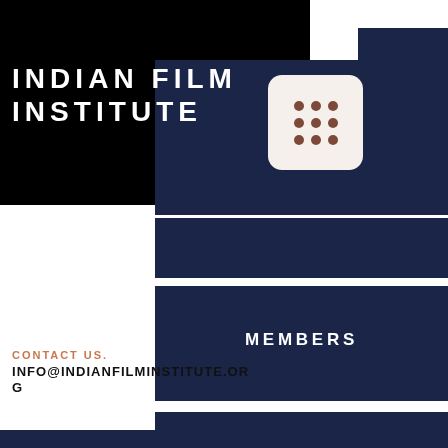INDIAN FILM INSTITUTE
MEMBERS
CONTRIBUTORS
CONTACT US.
INFO@INDIANFILMINSTITUTE.ORG